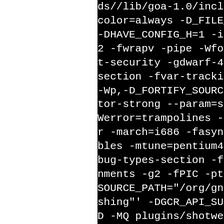ds//lib/goa-1.0/include -fcolor=always -D_FILE_OFFSE-DHAVE_CONFIG_H=1 -include2 -fwrapv -pipe -Wformat -t-security -gdwarf-4 -fno-section -fvar-tracking-ass-Wp,-D_FORTIFY_SOURCE=2 -ftor-strong --param=ssp-bufWerror=trampolines -fomit-r -march=i686 -fasynchronobles -mtune=pentium4 -gdwabug-types-section -fvar-tnments -g2 -fPIC -pthread SOURCE_PATH="/org/gnome/Shshing"' -DGCR_API_SUBJECT_D -MQ plugins/shotwell-pubhotwell-publishing.so.p/med_FlickrPublishing.c.o -MRtwell-publishing/libshotweg.so.p/meson-generated_Flig.c.o.d -o plugins/shotweg/libshotwell-publishing.snerated_FlickrPublishing.cs/shotwell-publishing/libs